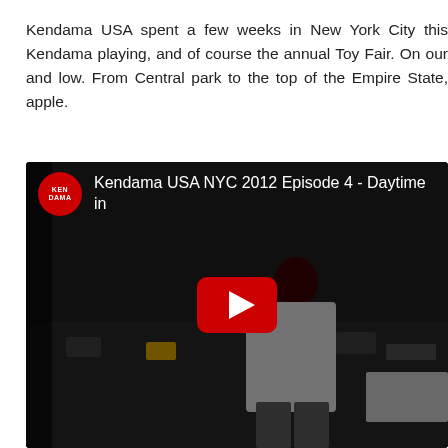Kendama USA spent a few weeks in New York City this Kendama playing, and of course the annual Toy Fair. On our and low. From Central park to the top of the Empire State, apple.
[Figure (screenshot): YouTube video embed thumbnail showing 'Kendama USA NYC 2012 Episode 4 - Daytime in' with a darkened scene of a person playing kendama on a rooftop overlooking a city street, with a YouTube play button in the center and the Kendama USA channel logo (red circle) in the top left corner.]